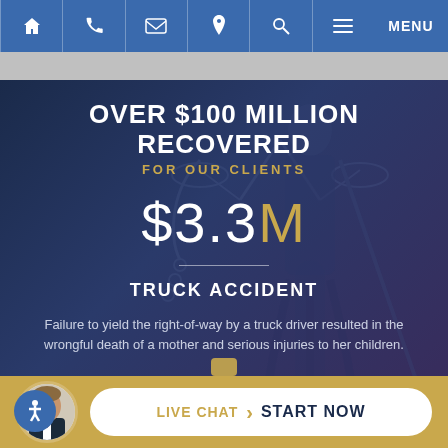Navigation bar with home, phone, email, location, search, and menu icons
OVER $100 MILLION RECOVERED FOR OUR CLIENTS
$3.3M
TRUCK ACCIDENT
Failure to yield the right-of-way by a truck driver resulted in the wrongful death of a mother and serious injuries to her children.
LIVE CHAT › START NOW